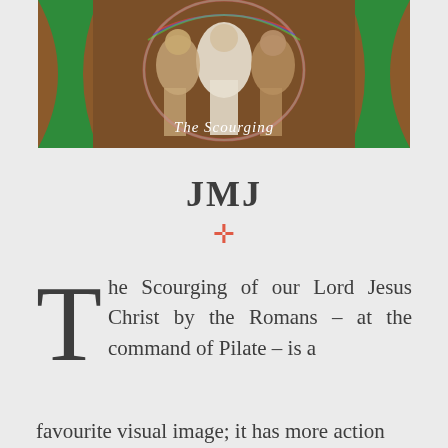[Figure (illustration): Religious illustration of The Scourging — figures in robes with dramatic colorful lighting on a brown background, with a green framing element on sides. White text reads 'The Scourging' in decorative lettering at bottom center of image.]
JMJ
✛
The Scourging of our Lord Jesus Christ by the Romans – at the command of Pilate – is a favourite visual image; it has more action